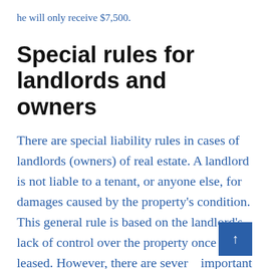he will only receive $7,500.
Special rules for landlords and owners
There are special liability rules in cases of landlords (owners) of real estate. A landlord is not liable to a tenant, or anyone else, for damages caused by the property's condition. This general rule is based on the landlord's lack of control over the property once leased. However, there are several important exceptions.